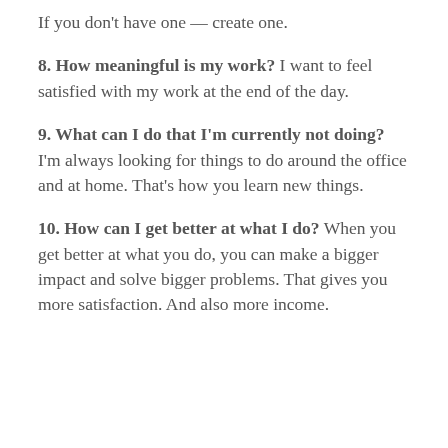If you don't have one — create one.
8. How meaningful is my work? I want to feel satisfied with my work at the end of the day.
9. What can I do that I'm currently not doing? I'm always looking for things to do around the office and at home. That's how you learn new things.
10. How can I get better at what I do? When you get better at what you do, you can make a bigger impact and solve bigger problems. That gives you more satisfaction. And also more income.